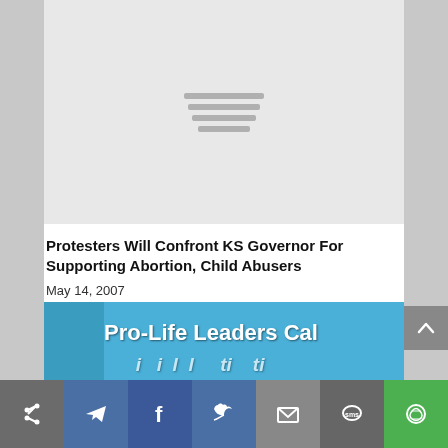[Figure (other): Gray placeholder image with hamburger menu lines icon in center]
Protesters Will Confront KS Governor For Supporting Abortion, Child Abusers
May 14, 2007
[Figure (other): Banner image with blue sky background showing 'Pro-Life Leaders Cal' text and partial second line, with statue silhouette on left]
[Figure (other): Social share bar with icons: share, telegram, facebook, twitter, email, sms, other]